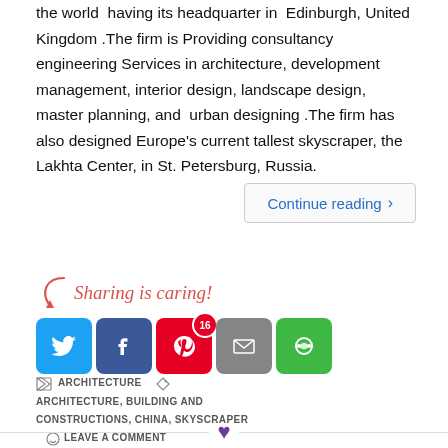the world having its headquarter in Edinburgh, United Kingdom .The firm is Providing consultancy engineering Services in architecture, development management, interior design, landscape design, master planning, and urban designing .The firm has also designed Europe's current tallest skyscraper, the Lakhta Center, in St. Petersburg, Russia.
Continue reading ›
[Figure (infographic): Sharing is caring! label with social media icon buttons: Twitter, Facebook (with badge 16), Pinterest, Email, and a green sharing icon]
ARCHITECTURE  ARCHITECTURE, BUILDING AND CONSTRUCTIONS, CHINA, SKYSCRAPER  LEAVE A COMMENT